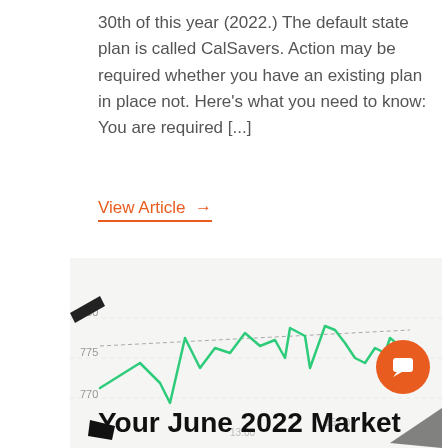30th of this year (2022.) The default state plan is called CalSavers.  Action may be required whether you have an existing plan in place not. Here’s what you need to know:  You are required [...]
View Article →
[Figure (photo): A photo of a stock market line chart on a screen/tablet, showing green lines with values around 770-780, with time labels 13:00 and 15:00 visible on the x-axis.]
Your June 2022 Market